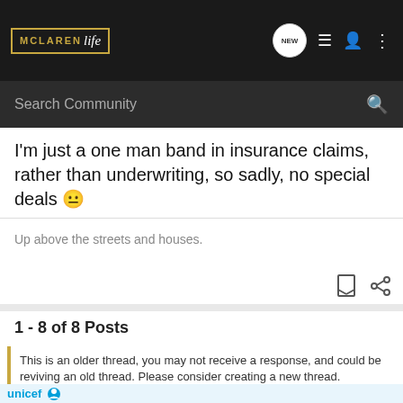McLaren Life — Search Community
I'm just a one man band in insurance claims, rather than underwriting, so sadly, no special deals 😐
Up above the streets and houses.
1 - 8 of 8 Posts
This is an older thread, you may not receive a response, and could be reviving an old thread. Please consider creating a new thread.
[Figure (photo): UNICEF advertisement banner with logo and smiling children wearing green hats]